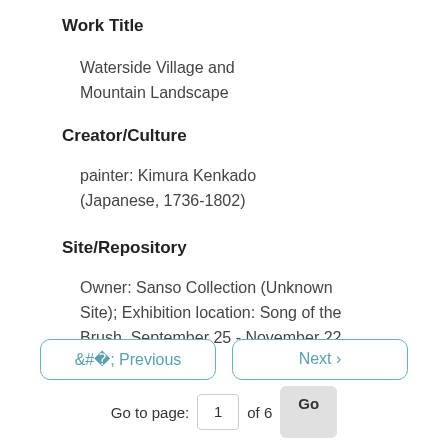Work Title
Waterside Village and Mountain Landscape
Creator/Culture
painter: Kimura Kenkado (Japanese, 1736-1802)
Site/Repository
Owner: Sanso Collection (Unknown Site); Exhibition location: Song of the Brush, September 25 - November 22, 1980 on
< Previous   Next >
Go to page: 1 of 6 Go